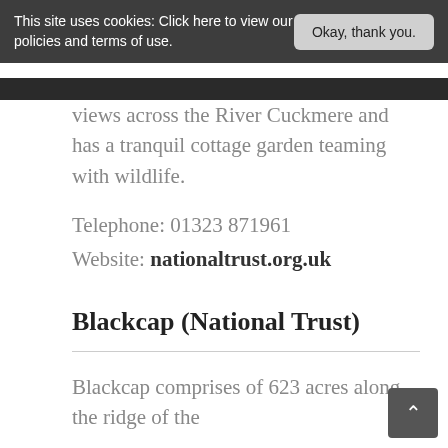This site uses cookies: Click here to view our policies and terms of use.
Okay, thank you.
views across the River Cuckmere and has a tranquil cottage garden teaming with wildlife.
Telephone: 01323 871961
Website: nationaltrust.org.uk
Blackcap (National Trust)
Blackcap comprises of 623 acres along the ridge of the